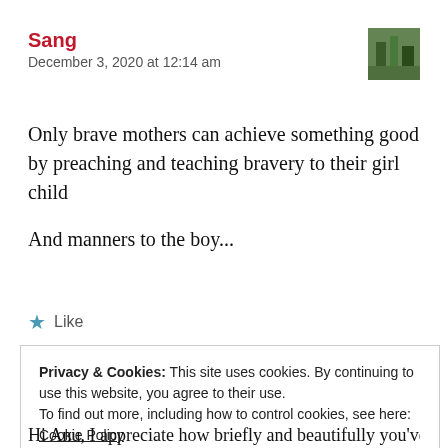Sang
December 3, 2020 at 12:14 am
[Figure (photo): Small avatar thumbnail image of a person or scene]
Only brave mothers can achieve something good by preaching and teaching bravery to their girl child

And manners to the boy...
★ Like
Privacy & Cookies: This site uses cookies. By continuing to use this website, you agree to their use.
To find out more, including how to control cookies, see here: Cookie Policy
Close and accept
Hi Anu, I appreciate how briefly and beautifully you've